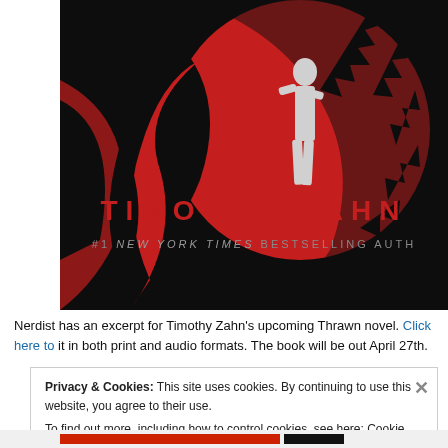[Figure (illustration): Book cover partial view: dark background with red circular design featuring jagged edges (claw/gear motif), silhouette of a person in white standing in center of the red circle. Text reads 'TIMOTHY ZAHN' in red letters and '#1 NEW YORK TIMES BESTSELLING AUTH' in grey/white letters at bottom of cover.]
Nerdist has an excerpt for Timothy Zahn's upcoming Thrawn novel. Click here to it in both print and audio formats. The book will be out April 27th.
Privacy & Cookies: This site uses cookies. By continuing to use this website, you agree to their use.
To find out more, including how to control cookies, see here: Cookie Policy
Close and accept